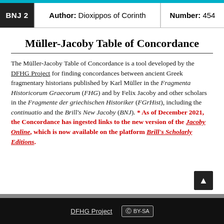BNJ 2   Author: Dioxippos of Corinth   Number: 454
Müller-Jacoby Table of Concordance
The Müller-Jacoby Table of Concordance is a tool developed by the DFHG Project for finding concordances between ancient Greek fragmentary historians published by Karl Müller in the Fragmenta Historicorum Graecorum (FHG) and by Felix Jacoby and other scholars in the Fragmente der griechischen Historiker (FGrHist), including the continuatio and the Brill's New Jacoby (BNJ). * As of December 2021, the Concordance has ingested links to the new version of the Jacoby Online, which is now available on the platform Brill's Scholarly Editions.
DFHG Project   CC BY-SA